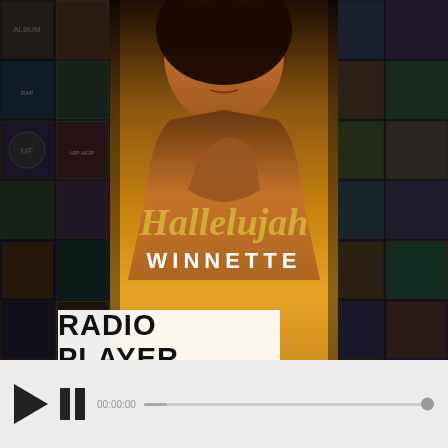[Figure (screenshot): Music app screenshot showing a collage of album covers as background with a central featured album 'Hallelujah' by Winnette, a 'Buy this album' link, a 'RADIO PLAYER' label box, and a media player control bar at the bottom with play/pause buttons and a progress bar.]
Buy this album
RADIO PLAYER
00:00:00